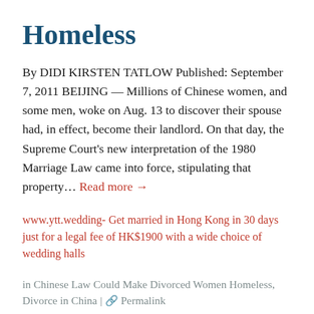Homeless
By DIDI KIRSTEN TATLOW Published: September 7, 2011 BEIJING — Millions of Chinese women, and some men, woke on Aug. 13 to discover their spouse had, in effect, become their landlord. On that day, the Supreme Court's new interpretation of the 1980 Marriage Law came into force, stipulating that property... Read more →
www.ytt.wedding- Get married in Hong Kong in 30 days just for a legal fee of HK$1900 with a wide choice of wedding halls
in Chinese Law Could Make Divorced Women Homeless, Divorce in China | 🔗 Permalink